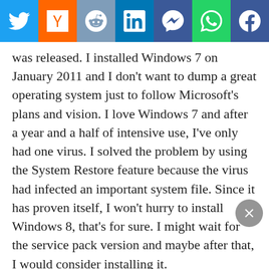[Figure (other): Social share bar with icons for Twitter, Y Combinator, Reddit, LinkedIn, Messenger, WhatsApp, and Facebook]
was released. I installed Windows 7 on January 2011 and I don't want to dump a great operating system just to follow Microsoft's plans and vision. I love Windows 7 and after a year and a half of intensive use, I've only had one virus. I solved the problem by using the System Restore feature because the virus had infected an important system file. Since it has proven itself, I won't hurry to install Windows 8, that's for sure. I might wait for the service pack version and maybe after that, I would consider installing it.
Windows 8 has some good features and my colleague Don Willmott wrote about them perfectly in a recent post and included; performance, fast boot times, always on, always connected, security and redesigned task manager